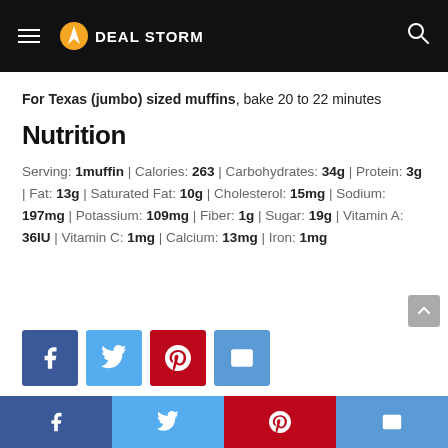Deal Storm
For Texas (jumbo) sized muffins, bake 20 to 22 minutes
Nutrition
Serving: 1muffin | Calories: 263 | Carbohydrates: 34g | Protein: 3g | Fat: 13g | Saturated Fat: 10g | Cholesterol: 15mg | Sodium: 197mg | Potassium: 109mg | Fiber: 1g | Sugar: 19g | Vitamin A: 36IU | Vitamin C: 1mg | Calcium: 13mg | Iron: 1mg
[Figure (other): Social share buttons: Facebook, Twitter, Pinterest, Email]
Social share bar: Facebook, Twitter, Pinterest, Email